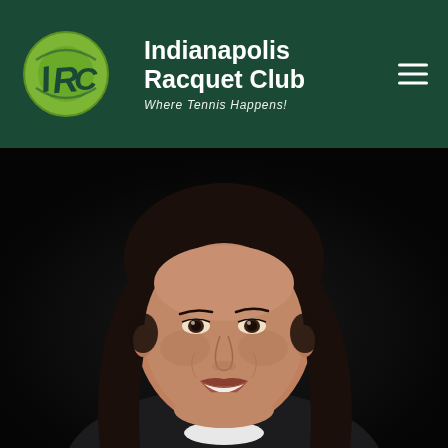[Figure (logo): Indianapolis Racquet Club circular logo with IRC letters on lime green background]
Indianapolis Racquet Club
Where Tennis Happens!
[Figure (photo): Professional headshot portrait of a woman with dark hair, smiling, against a dark/black background]